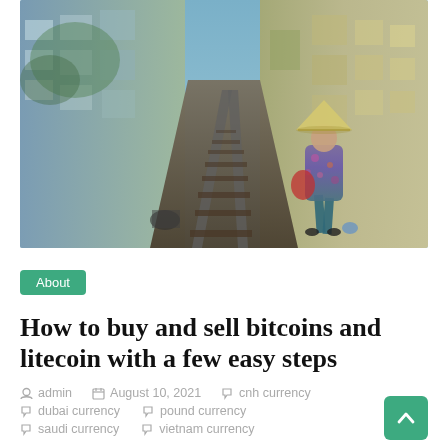[Figure (photo): Street-level view of a narrow alley with railway tracks running through it, lined with densely packed multi-story buildings. A woman wearing a traditional Vietnamese conical hat and floral outfit walks away from the camera along the tracks.]
About
How to buy and sell bitcoins and litecoin with a few easy steps
admin   August 10, 2021   cnh currency
dubai currency   pound currency
saudi currency   vietnam currency